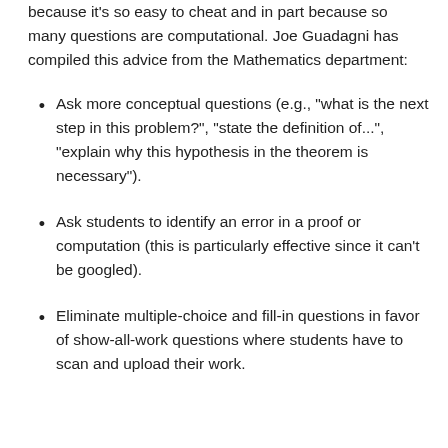because it's so easy to cheat and in part because so many questions are computational. Joe Guadagni has compiled this advice from the Mathematics department:
Ask more conceptual questions (e.g., "what is the next step in this problem?", "state the definition of...", "explain why this hypothesis in the theorem is necessary").
Ask students to identify an error in a proof or computation (this is particularly effective since it can't be googled).
Eliminate multiple-choice and fill-in questions in favor of show-all-work questions where students have to scan and upload their work.